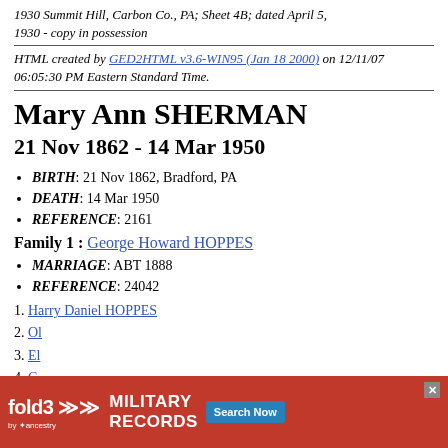1930 Summit Hill, Carbon Co., PA; Sheet 4B; dated April 5, 1930 - copy in possession
HTML created by GED2HTML v3.6-WIN95 (Jan 18 2000) on 12/11/07 06:05:30 PM Eastern Standard Time.
Mary Ann SHERMAN
21 Nov 1862 - 14 Mar 1950
BIRTH: 21 Nov 1862, Bradford, PA
DEATH: 14 Mar 1950
REFERENCE: 2161
Family 1 : George Howard HOPPES
MARRIAGE: ABT 1888
REFERENCE: 24042
Harry Daniel HOPPES
Ol...
El...
C...